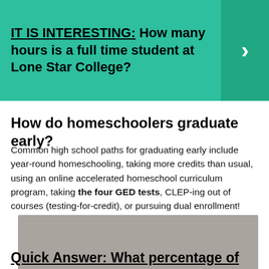IT IS INTERESTING: How many hours is a full time student at Lone Star College?
How do homeschoolers graduate early?
Common high school paths for graduating early include year-round homeschooling, taking more credits than usual, using an online accelerated homeschool curriculum program, taking the four GED tests, CLEP-ing out of courses (testing-for-credit), or pursuing dual enrollment!
[Figure (photo): Gray placeholder image block with 'Admission' label at bottom left and comment icon with '0' at bottom right]
Quick Answer: What percentage of